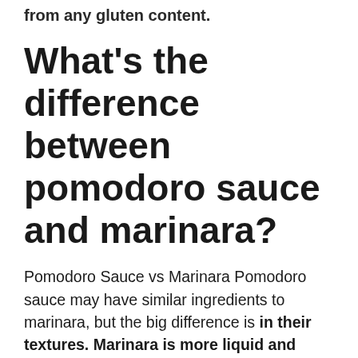from any gluten content.
What's the difference between pomodoro sauce and marinara?
Pomodoro Sauce vs Marinara Pomodoro sauce may have similar ingredients to marinara, but the big difference is in their textures. Marinara is more liquid and runnier, and it is often chunky. Pomodoro is thicker and smoothly textured.
Is pasta sauce pizza sauce?